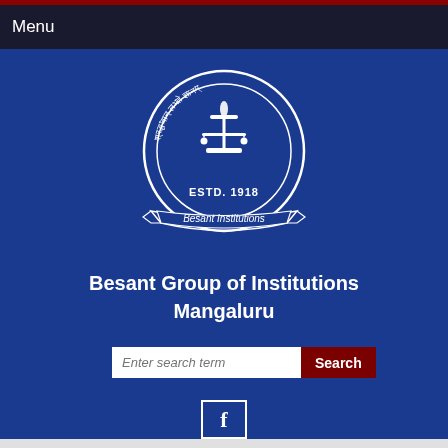Menu
[Figure (logo): Besant Institutions circular seal/logo with Sanskrit text, lamp illustration, and 'ESTD. 1918' inscription on a ribbon banner reading 'Besant Institutions']
Besant Group of Institutions
Mangaluru
Enter search term
Search
[Figure (logo): Facebook social media icon - letter f in a white square border]